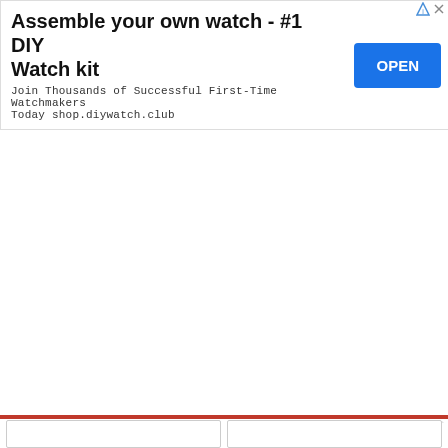[Figure (screenshot): Advertisement banner for DIY Watch kit. Title: 'Assemble your own watch - #1 DIY Watch kit'. Subtitle: 'Join Thousands of Successful First-Time Watchmakers Today shop.diywatch.club'. Blue OPEN button on the right. AdChoices icon top right corner.]
[Figure (screenshot): Web page UI elements: red horizontal divider line with a gap in the middle, an X close button on the right, a large diagonal-striped gray content area below, and two small white boxes at the very bottom.]